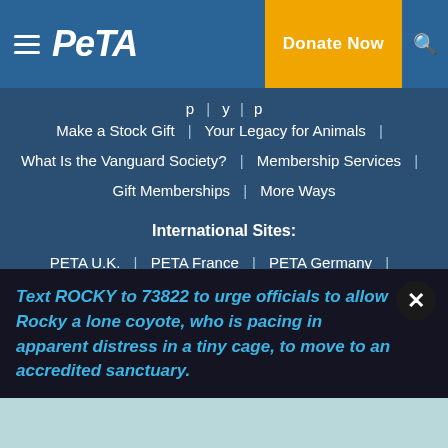PETA — Donate Now
Make a Stock Gift | Your Legacy for Animals |
What Is the Vanguard Society? | Membership Services |
Gift Memberships | More Ways
International Sites:
PETA U.K. | PETA France | PETA Germany |
PETA Netherlands | PETA Switzerland | PETA India |
PETA Australia | PETA Asia | 페타코리아 | PETA Latino
Text ROCKY to 73822 to urge officials to allow Rocky a lone coyote, who is pacing in apparent distress in a tiny cage, to move to an accredited sanctuary.